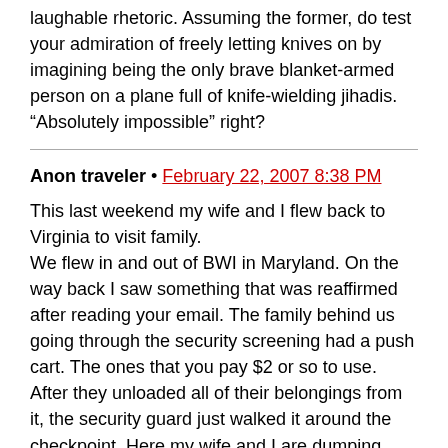laughable rhetoric. Assuming the former, do test your admiration of freely letting knives on by imagining being the only brave blanket-armed person on a plane full of knife-wielding jihadis. “Absolutely impossible” right?
Anon traveler • February 22, 2007 8:38 PM
This last weekend my wife and I flew back to Virginia to visit family.
We flew in and out of BWI in Maryland. On the way back I saw something that was reaffirmed after reading your email. The family behind us going through the security screening had a push cart. The ones that you pay $2 or so to use. After they unloaded all of their belongings from it, the security guard just walked it around the checkpoint. Here my wife and I are dumping anything over three ounces, and taking our shoes off. But this cart, which is not controlled 100% of the time, is moved through security without a second look. How hard would it be to modify one of those to hold just about anything.
I would have said something to TSA, but in today’s climate I would rather they not take notice of me for any reason.
Thanks for your time, and thank you for blogging. I enjoy it